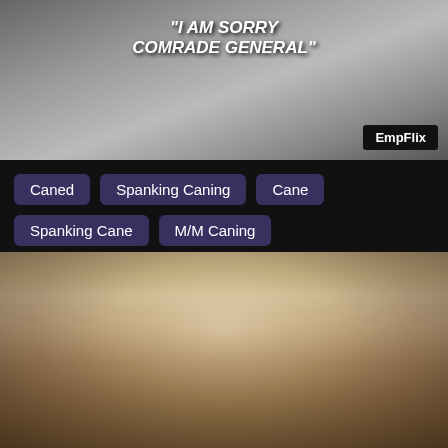[Figure (photo): Top video thumbnail with text overlay reading "I AM SORRY COMRADE GENERAL" and EmpFlix watermark]
Caned
Spanking Caning
Cane
Spanking Cane
M/M Caning
[Figure (photo): Bottom photo of a blonde woman restrained in a wooden stock device with chains]